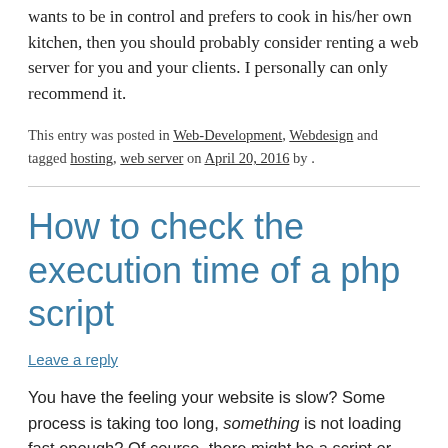wants to be in control and prefers to cook in his/her own kitchen, then you should probably consider renting a web server for you and your clients. I personally can only recommend it.
This entry was posted in Web-Development, Webdesign and tagged hosting, web server on April 20, 2016 by .
How to check the execution time of a php script
Leave a reply
You have the feeling your website is slow? Some process is taking too long, something is not loading fast enough? Of course, there might be a script or maybe just a few lines of php slowing it down – but which part of the script is it? If you